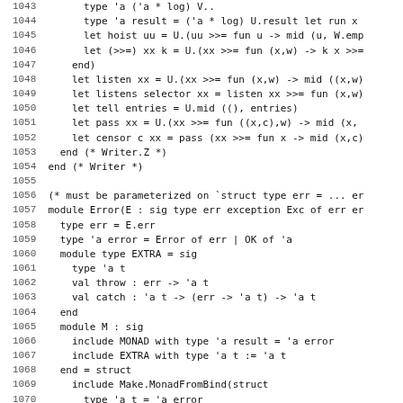Code listing lines 1043-1075, OCaml source code for Writer and Error monads